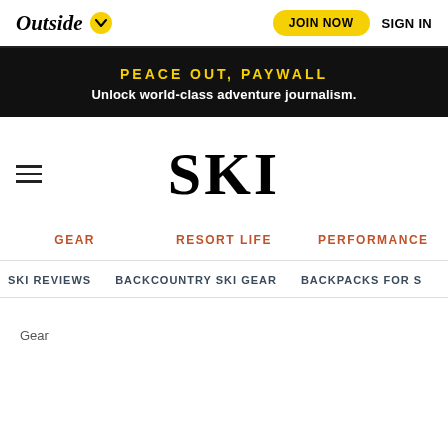Outside [dropdown] JOIN NOW  SIGN IN
PEACE OUT, PAYWALL
Unlock world-class adventure journalism.
SKI
GEAR   RESORT LIFE   PERFORMANCE
SKI REVIEWS   BACKCOUNTRY SKI GEAR   BACKPACKS FOR S
Gear